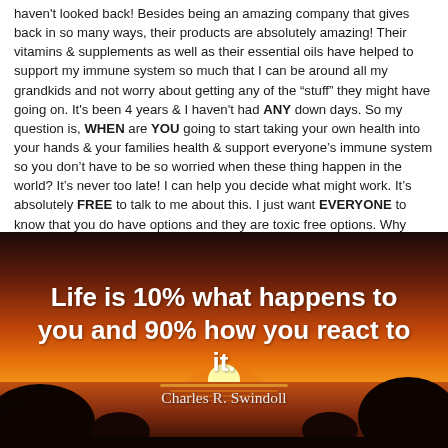haven't looked back! Besides being an amazing company that gives back in so many ways, their products are absolutely amazing! Their vitamins & supplements as well as their essential oils have helped to support my immune system so much that I can be around all my grandkids and not worry about getting any of the “stuff” they might have going on. It's been 4 years & I haven't had ANY down days. So my question is, WHEN are YOU going to start taking your own health into your hands & your families health & support everyone’s immune system so you don’t have to be so worried when these thing happen in the world? It's never too late! I can help you decide what might work. It's absolutely FREE to talk to me about this. I just want EVERYONE to know that you do have options and they are toxic free options. Why wait? Doesn’t hurt to at least hear about them.
[Figure (illustration): Sunset over ocean with silhouetted rocks, warm orange and red sky. Overlaid with a motivational quote in large bold white text and attribution.]